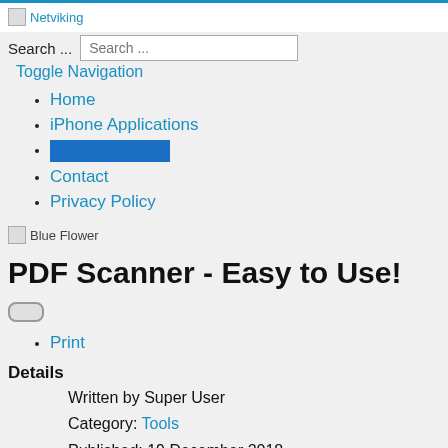Netviking
Search ...
Toggle Navigation
Home
iPhone Applications
[redacted]
Contact
Privacy Policy
[Figure (illustration): Blue Flower image placeholder]
PDF Scanner - Easy to Use!
Print
Details
Written by Super User
Category: Tools
Published: 19 December 2018
Hits: 7326